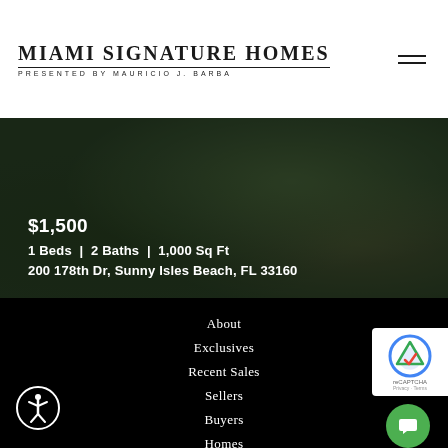MIAMI SIGNATURE HOMES
PRESENTED BY MAURICIO J. BARBA
[Figure (photo): Exterior photo of property at 200 178th Dr, Sunny Isles Beach, FL 33160 with dark overlay showing price and details]
$1,500
1 Beds  |  2 Baths  |  1,000 Sq Ft
200 178th Dr, Sunny Isles Beach, FL 33160
About
Exclusives
Recent Sales
Sellers
Buyers
Homes
Condos
Neighborhoods